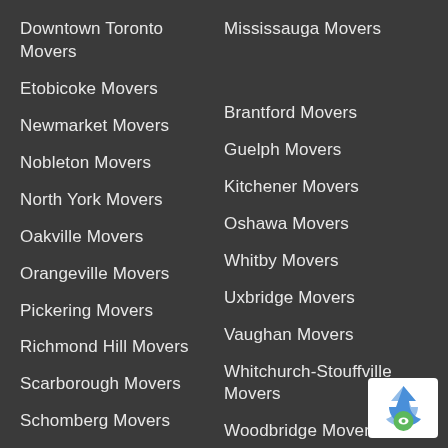Downtown Toronto Movers
Mississauga Movers
Etobicoke Movers
Newmarket Movers
Brantford Movers
Nobleton Movers
Guelph Movers
North York Movers
Kitchener Movers
Oakville Movers
Oshawa Movers
Orangeville Movers
Whitby Movers
Pickering Movers
Uxbridge Movers
Richmond Hill Movers
Vaughan Movers
Scarborough Movers
Whitchurch-Stouffville Movers
Schomberg Movers
Woodbridge Movers
Thornhill Movers
[Figure (logo): reCAPTCHA badge with blue arrow logo and green circle with eye icon, with 'Priv' text partially visible]